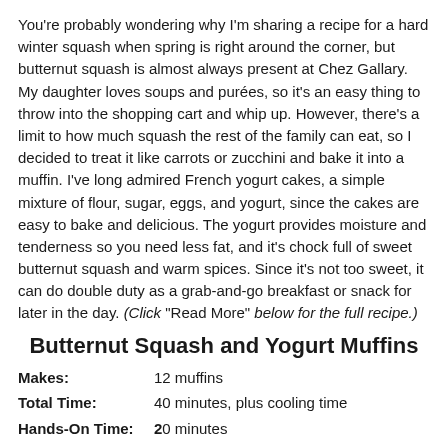You're probably wondering why I'm sharing a recipe for a hard winter squash when spring is right around the corner, but butternut squash is almost always present at Chez Gallary. My daughter loves soups and purées, so it's an easy thing to throw into the shopping cart and whip up. However, there's a limit to how much squash the rest of the family can eat, so I decided to treat it like carrots or zucchini and bake it into a muffin. I've long admired French yogurt cakes, a simple mixture of flour, sugar, eggs, and yogurt, since the cakes are easy to bake and delicious. The yogurt provides moisture and tenderness so you need less fat, and it's chock full of sweet butternut squash and warm spices. Since it's not too sweet, it can do double duty as a grab-and-go breakfast or snack for later in the day. (Click "Read More" below for the full recipe.)
Butternut Squash and Yogurt Muffins
| Makes: | 12 muffins |
| Total Time: | 40 minutes, plus cooling time |
| Hands-On Time: | 20 minutes |
Nice to Know: You can grate butternut squash on the large holes of a box grater or process it through the shredding